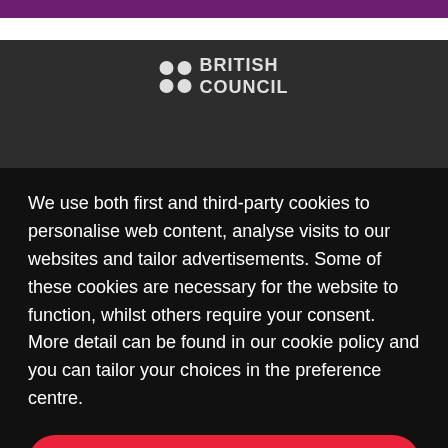[Figure (logo): British Council logo with four dots arranged in 2x2 grid and text BRITISH COUNCIL]
We use both first and third-party cookies to personalise web content, analyse visits to our websites and tailor advertisements. Some of these cookies are necessary for the website to function, whilst others require your consent. More detail can be found in our cookie policy and you can tailor your choices in the preference centre.
Accept All Cookies
About IELTS
Cookies Settings
For test takers